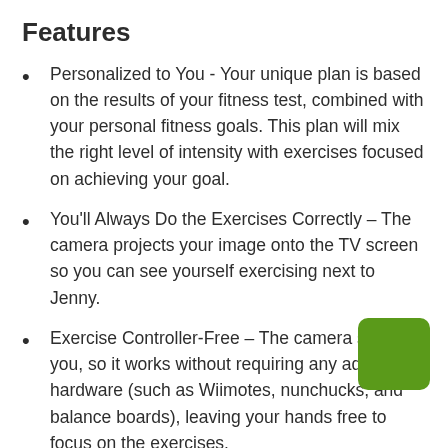Features
Personalized to You - Your unique plan is based on the results of your fitness test, combined with your personal fitness goals. This plan will mix the right level of intensity with exercises focused on achieving your goal.
You'll Always Do the Exercises Correctly – The camera projects your image onto the TV screen so you can see yourself exercising next to Jenny.
Exercise Controller-Free – The camera sees you, so it works without requiring any additional hardware (such as Wiimotes, nunchucks, and balance boards), leaving your hands free to focus on the exercises.
Exercise That's Fun and Motivational - not only Jenny your in-game workout buddy, but you can